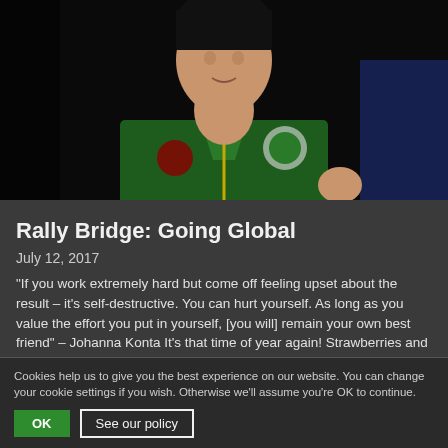[Figure (photo): A person wearing a dark green athletic jacket with yellow trim, speaking or presenting, photographed against a dark background]
Rally Bridge: Going Global
July 12, 2017
“If you work extremely hard but come off feeling upset about the result – it’s self-destructive. You can hurt yourself. As long as you value the effort you put in yourself, [you will] remain your own best friend” – Johanna Konta It’s that time of year again! Strawberries and cream become a staple, thousands queue for a …
Cookies help us to give you the best experience on our website. You can change your cookie settings if you wish. Otherwise we’ll assume you’re OK to continue.